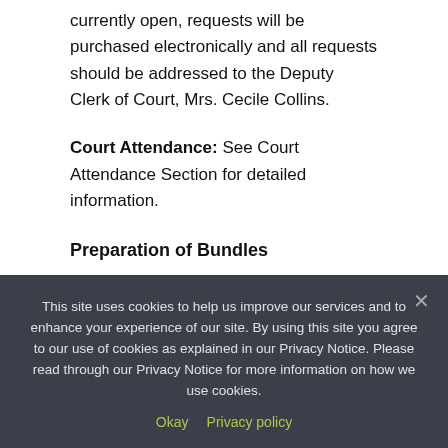currently open, requests will be purchased electronically and all requests should be addressed to the Deputy Clerk of Court, Mrs. Cecile Collins.
Court Attendance:
Court Attendance: See Court Attendance Section for detailed information.
Preparation of Bundles
During the ‘Shelter in Place’ period, only electronic bundles will be accepted, unless, otherwise advised by the presiding Judge.
This site uses cookies to help us improve our services and to enhance your experience of our site. By using this site you agree to our use of cookies as explained in our Privacy Notice. Please read through our Privacy Notice for more information on how we use cookies.